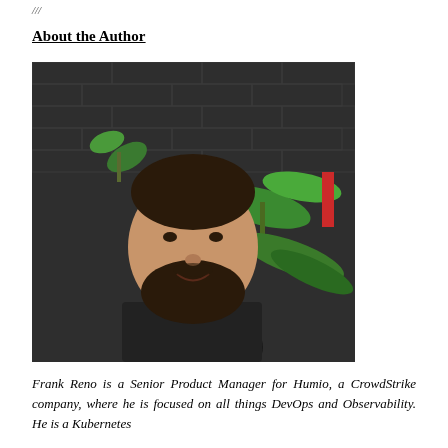///
About the Author
[Figure (photo): Portrait photo of Frank Reno, a bearded man smiling against a dark brick wall with a green street art mural behind him, wearing a dark shirt.]
Frank Reno is a Senior Product Manager for Humio, a CrowdStrike company, where he is focused on all things DevOps and Observability. He is a Kubernetes